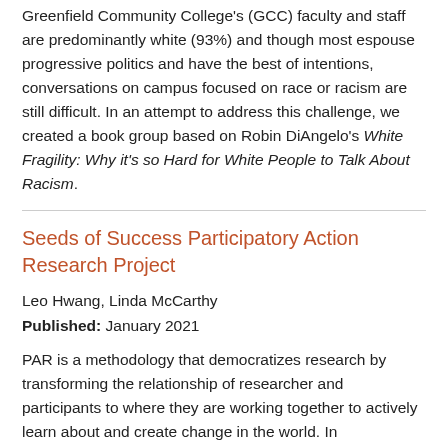Greenfield Community College's (GCC) faculty and staff are predominantly white (93%) and though most espouse progressive politics and have the best of intentions, conversations on campus focused on race or racism are still difficult. In an attempt to address this challenge, we created a book group based on Robin DiAngelo's White Fragility: Why it's so Hard for White People to Talk About Racism.
Seeds of Success Participatory Action Research Project
Leo Hwang, Linda McCarthy
Published: January 2021
PAR is a methodology that democratizes research by transforming the relationship of researcher and participants to where they are working together to actively learn about and create change in the world. In